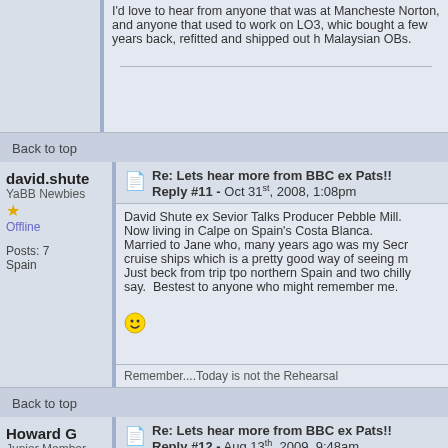I'd love to hear from anyone that was at Manchester Norton, and anyone that used to work on LO3, which bought a few years back, refitted and shipped out Malaysian OBs.
Back to top
david.shute
YaBB Newbies
Offline
Posts: 7
Spain
Re: Lets hear more from BBC ex Pats!! Reply #11 - Oct 31st, 2008, 1:08pm
David Shute ex Sevior Talks Producer Pebble Mill. Now living in Calpe on Spain's Costa Blanca. Married to Jane who, many years ago was my Secretary... cruise ships which is a pretty good way of seeing m... Just beck from trip tpo northern Spain and two chilly... say. Bestest to anyone who might remember me.
Remember....Today is not the Rehearsal
Back to top
Howard G
Junior Member
Offline
Posts: 73
Re: Lets hear more from BBC ex Pats!! Reply #12 - Aug 13th, 2009, 9:48am
Hi Chris (West)
See your contact is a while now but as News Came... I am now in Cape Town taking the sun, sand and W...
Howard Garstka